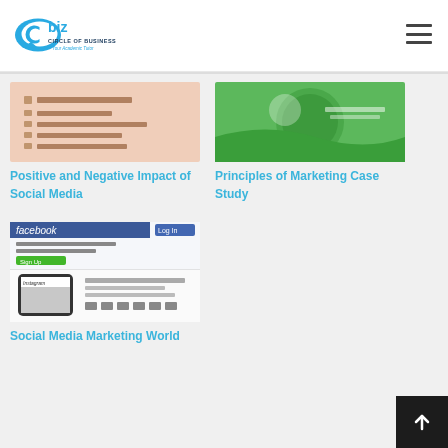Cbiz Circle of Business — Your Academic Tutor
[Figure (screenshot): Thumbnail image showing bullet points on a peach/salmon background for Positive and Negative Impact of Social Media article]
Positive and Negative Impact of Social Media
[Figure (screenshot): Thumbnail image showing a green circular graphic for Principles of Marketing Case Study article]
Principles of Marketing Case Study
[Figure (screenshot): Thumbnail image showing Facebook and Instagram social media screenshots for Social Media Marketing World article]
Social Media Marketing World